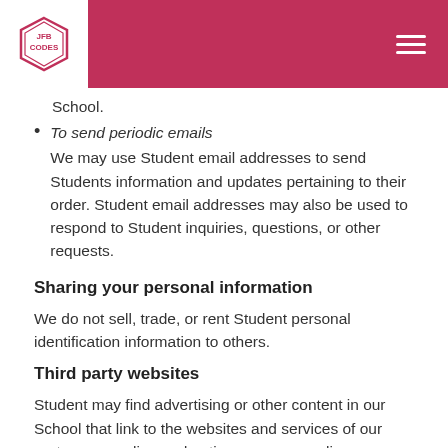JFB CODES
School.
To send periodic emails — We may use Student email addresses to send Students information and updates pertaining to their order. Student email addresses may also be used to respond to Student inquiries, questions, or other requests.
Sharing your personal information
We do not sell, trade, or rent Student personal identification information to others.
Third party websites
Student may find advertising or other content in our School that link to the websites and services of our partners, suppliers, advertisers, sponsors, licensors and other third parties. We do not control the content or